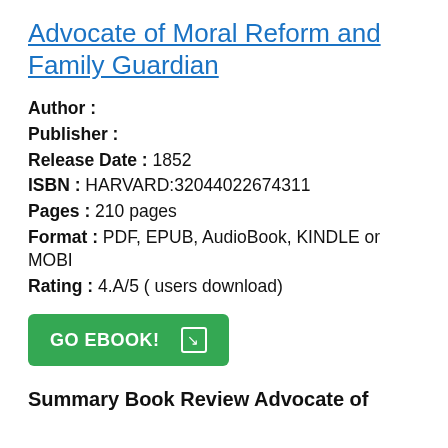Advocate of Moral Reform and Family Guardian
Author :
Publisher :
Release Date : 1852
ISBN : HARVARD:32044022674311
Pages : 210 pages
Format : PDF, EPUB, AudioBook, KINDLE or MOBI
Rating : 4.A/5 ( users download)
GO EBOOK!
Summary Book Review Advocate of